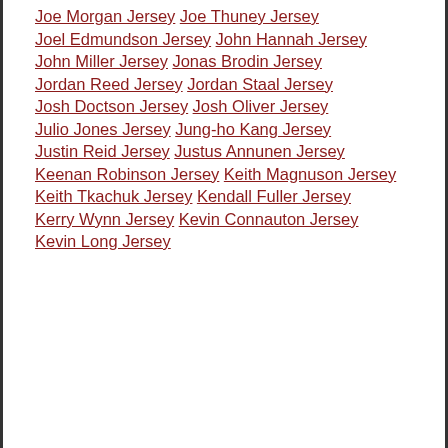Joe Morgan Jersey
Joe Thuney Jersey
Joel Edmundson Jersey
John Hannah Jersey
John Miller Jersey
Jonas Brodin Jersey
Jordan Reed Jersey
Jordan Staal Jersey
Josh Doctson Jersey
Josh Oliver Jersey
Julio Jones Jersey
Jung-ho Kang Jersey
Justin Reid Jersey
Justus Annunen Jersey
Keenan Robinson Jersey
Keith Magnuson Jersey
Keith Tkachuk Jersey
Kendall Fuller Jersey
Kerry Wynn Jersey
Kevin Connauton Jersey
Kevin Long Jersey